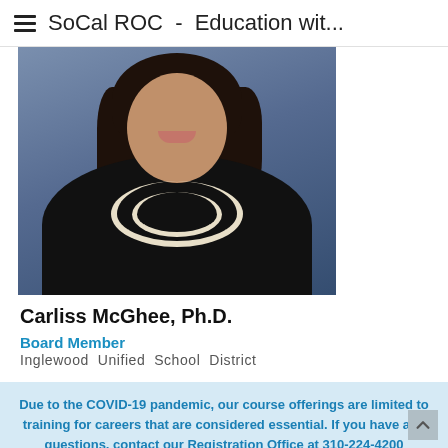SoCal ROC - Education wit...
[Figure (photo): Portrait photo of Carliss McGhee, Ph.D. — a woman in a black jacket wearing pearl necklaces, smiling, against a blue-grey background.]
Carliss McGhee, Ph.D.
Board Member
Inglewood Unified School District
Due to the COVID-19 pandemic, our course offerings are limited to training for careers that are considered essential. If you have any questions, contact our Registration Office at 310-224-4200